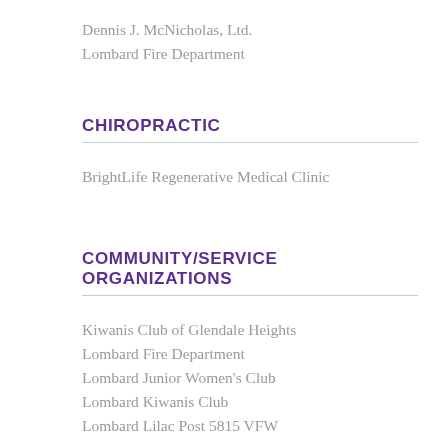Dennis J. McNicholas, Ltd.
Lombard Fire Department
CHIROPRACTIC
BrightLife Regenerative Medical Clinic
COMMUNITY/SERVICE ORGANIZATIONS
Kiwanis Club of Glendale Heights
Lombard Fire Department
Lombard Junior Women's Club
Lombard Kiwanis Club
Lombard Lilac Post 5815 VFW